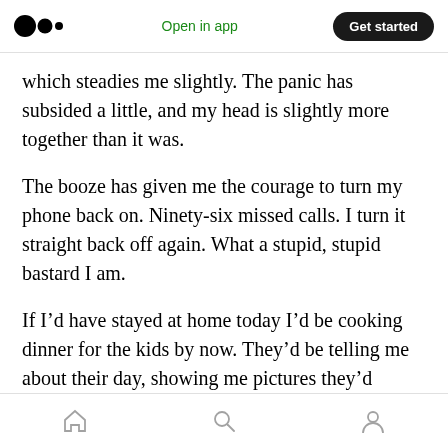Open in app | Get started
which steadies me slightly. The panic has subsided a little, and my head is slightly more together than it was.
The booze has given me the courage to turn my phone back on. Ninety-six missed calls. I turn it straight back off again. What a stupid, stupid bastard I am.
If I’d have stayed at home today I’d be cooking dinner for the kids by now. They’d be telling me about their day, showing me pictures they’d painted and laughing about what they got up to
Home | Search | Profile